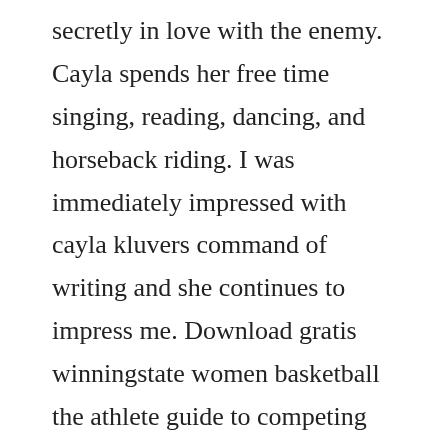secretly in love with the enemy. Cayla spends her free time singing, reading, dancing, and horseback riding. I was immediately impressed with cayla kluvers command of writing and she continues to impress me. Download gratis winningstate women basketball the athlete guide to competing mentally tough 4th edition steve knight 9780977865888 books. Mar 28, 2020 download legacy by cayla kluver in pdf epub format complete free. If you want an experience that will touch you, this book, even more than the first two, will do. Cayla